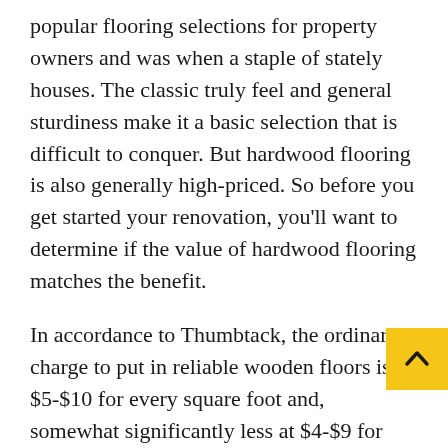popular flooring selections for property owners and was when a staple of stately houses. The classic truly feel and general sturdiness make it a basic selection that is difficult to conquer. But hardwood flooring is also generally high-priced. So before you get started your renovation, you'll want to determine if the value of hardwood flooring matches the benefit.
In accordance to Thumbtack, the ordinary charge to put in reliable wooden floors is $5-$10 for every square foot and, somewhat significantly less at $4-$9 for each square foot to put in engineered wooden. The variance is primarily based on the variety of wooden you use and the complexity of the set up, some of